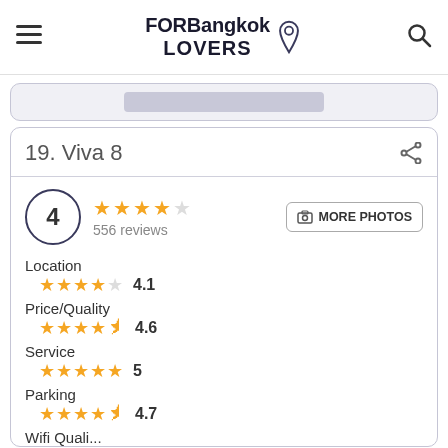FORBangkok LOVERS
19. Viva 8
4 ★★★★☆ 556 reviews
Location ★★★★☆ 4.1
Price/Quality ★★★★½ 4.6
Service ★★★★★ 5
Parking ★★★★½ 4.7